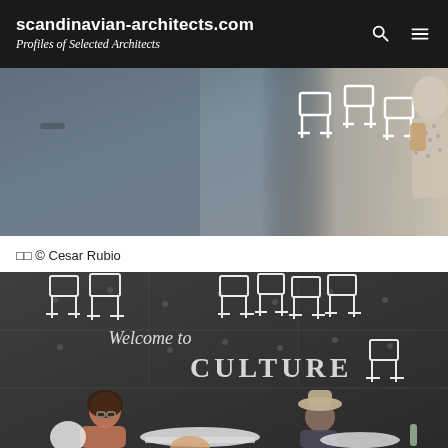scandinavian-architects.com — Profiles of Selected Architects
[Figure (photo): Partial photo showing white chairs against a grey/dark background with a person in a polka dot dress visible at the right edge]
□□ © Cesar Rubio
[Figure (photo): Photo of a dark chalkboard wall with white chairs hung on it and the text 'Welcome to CULTURE' written in chalk. People are seated at white tables in the foreground.]